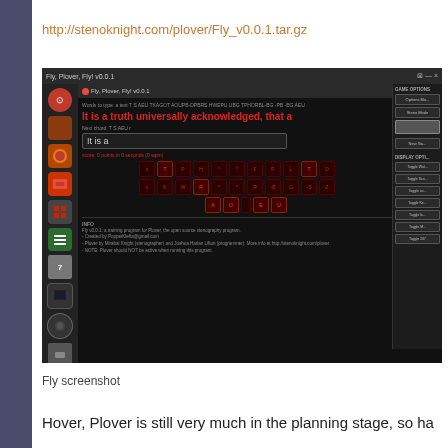http://stenoknight.com/plover/Fly_v0.0.1.tar.gz
[Figure (screenshot): Screenshot of the Fly, Plover, Fly! v0.0.1 application window showing a stenography training program with red highlighted text 'It is a truth universally acknowledged, that a', a text input showing 'It is a', a steno keyboard layout with illuminated keys, and an info panel at the bottom. The application runs inside a Linux desktop environment.]
Fly screenshot
Hover, Plover is still very much in the planning stage, so ha